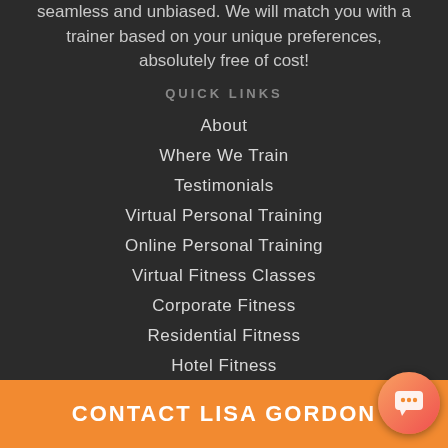seamless and unbiased. We will match you with a trainer based on your unique preferences, absolutely free of cost!
QUICK LINKS
About
Where We Train
Testimonials
Virtual Personal Training
Online Personal Training
Virtual Fitness Classes
Corporate Fitness
Residential Fitness
Hotel Fitness
CONTACT LISA GORDON